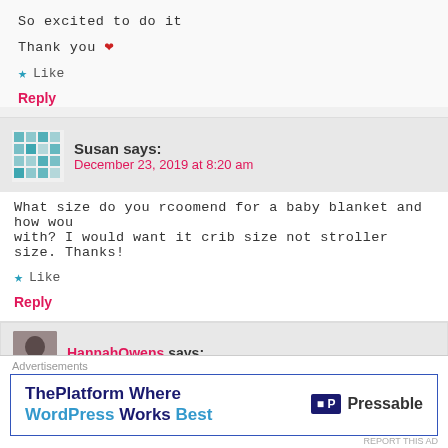So excited to do it
Thank you ❤
★ Like
Reply
Susan says:
December 23, 2019 at 8:20 am
What size do you rcoomend for a baby blanket and how wou with? I would want it crib size not stroller size. Thanks!
★ Like
Reply
HannahOwens says:
[Figure (infographic): Pressable advertisement: ThePlatform Where WordPress Works Best]